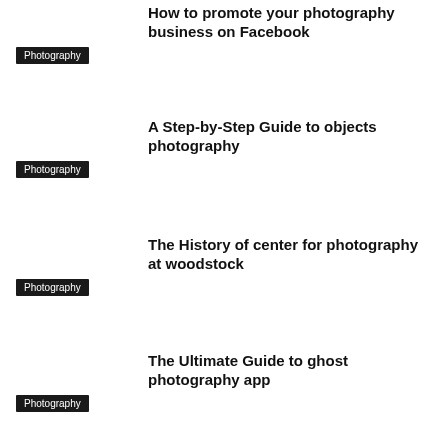How to promote your photography business on Facebook
Photography
A Step-by-Step Guide to objects photography
Photography
The History of center for photography at woodstock
Photography
The Ultimate Guide to ghost photography app
Photography
mermaid photography Explained in Instagram Photos
Photography